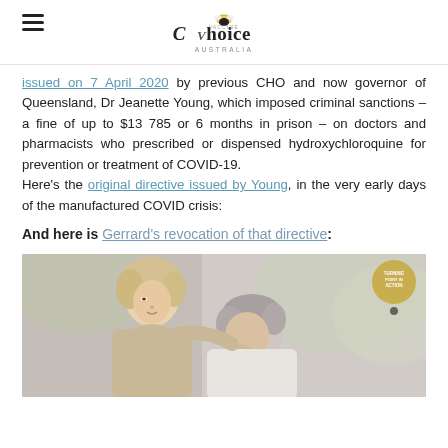Vaccine Choice Australia
issued on 7 April 2020 by previous CHO and now governor of Queensland, Dr Jeanette Young, which imposed criminal sanctions – a fine of up to $13 785 or 6 months in prison – on doctors and pharmacists who prescribed or dispensed hydroxychloroquine for prevention or treatment of COVID-19.
Here's the original directive issued by Young, in the very early days of the manufactured COVID crisis:
And here is Gerrard's revocation of that directive:
[Figure (photo): Photo of a middle-aged woman and man, the woman appearing to comfort or speak to the man who has his head down. A circular badge with 'Turning Point in Action' text appears in the top right corner.]